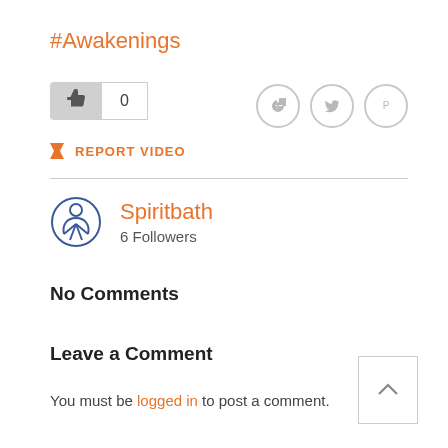#Awakenings
[Figure (other): Like button with thumbs up icon and count 0, plus Facebook, Twitter, Pinterest share icons]
REPORT VIDEO
Spiritbath
6 Followers
No Comments
Leave a Comment
You must be logged in to post a comment.